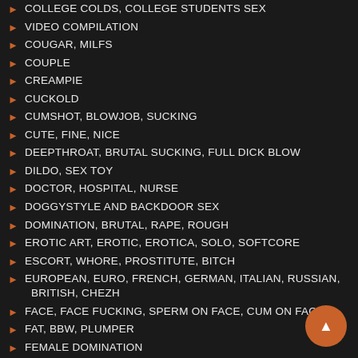COLLEGE COLDS, COLLEGE STUDENTS SEX
VIDEO COMPILATION
COUGAR, MILFS
COUPLE
CREAMPIE
CUCKOLD
CUMSHOT, BLOWJOB, SUCKING
CUTE, FINE, NICE
DEEPTHROAT, BRUTAL SUCKING, FULL DICK BLOW
DILDO, SEX TOY
DOCTOR, HOSPITAL, NURSE
DOGGYSTYLE AND BACKDOOR SEX
DOMINATION, BRUTAL, RAPE, ROUGH
EROTIC ART, EROTIC, EROTICA, SOLO, SOFTCORE
ESCORT, WHORE, PROSTITUTE, BITCH
EUROPEAN, EURO, FRENCH, GERMAN, ITALIAN, RUSSIAN, BRITISH, CHEZH
FACE, FACE FUCKING, SPERM ON FACE, CUM ON FACE
FAT, BBW, PLUMPER
FEMALE DOMINATION
FETISHES